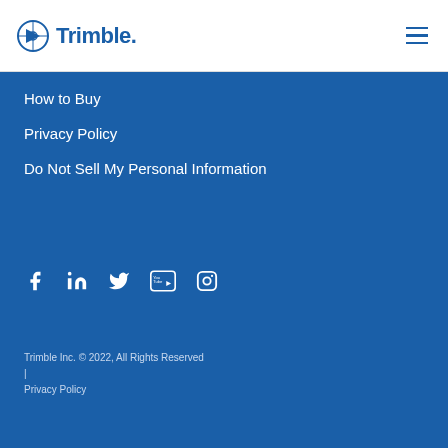[Figure (logo): Trimble logo with globe icon and blue wordmark]
How to Buy
Privacy Policy
Do Not Sell My Personal Information
[Figure (infographic): Social media icons: Facebook, LinkedIn, Twitter, YouTube, Instagram]
Trimble Inc. © 2022, All Rights Reserved | Privacy Policy